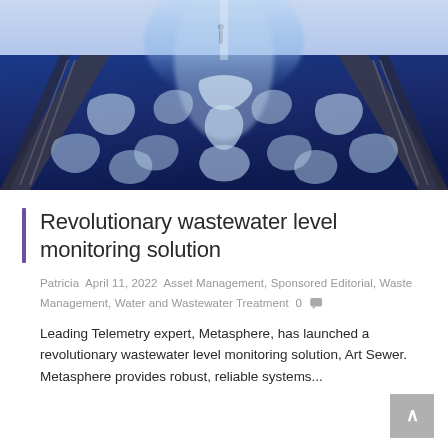[Figure (photo): Aerial view of a wastewater treatment facility with blue-tinted water and white foam/sediment patterns, walkways visible on sides, person in background]
Revolutionary wastewater level monitoring solution
Patricia April 11, 2022 Asset Management, Sponsored Editorial, Waste Management, Water and Wastewater Treatment 0
Leading Telemetry expert, Metasphere, has launched a revolutionary wastewater level monitoring solution, Art Sewer. Metasphere provides robust, reliable systems...